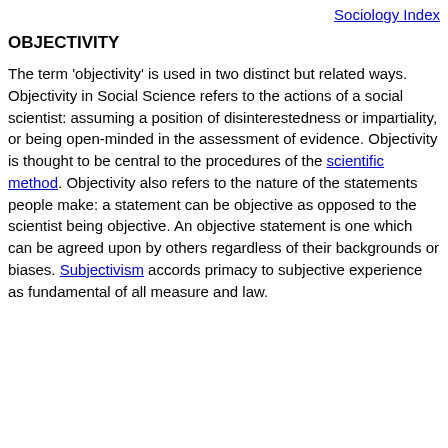Sociology Index
OBJECTIVITY
The term 'objectivity' is used in two distinct but related ways. Objectivity in Social Science refers to the actions of a social scientist: assuming a position of disinterestedness or impartiality, or being open-minded in the assessment of evidence. Objectivity is thought to be central to the procedures of the scientific method. Objectivity also refers to the nature of the statements people make: a statement can be objective as opposed to the scientist being objective. An objective statement is one which can be agreed upon by others regardless of their backgrounds or biases. Subjectivism accords primacy to subjective experience as fundamental of all measure and law.